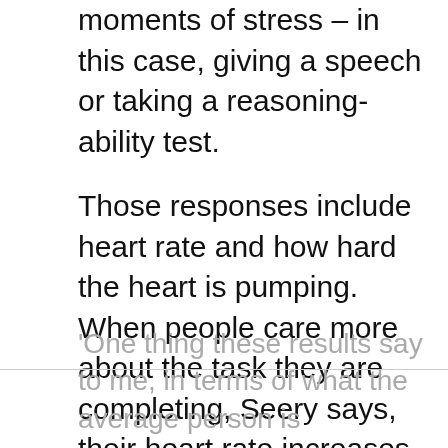moments of stress – in this case, giving a speech or taking a reasoning-ability test.
Those responses include heart rate and how hard the heart is pumping. When people care more about the task they are completing, Seery says, their heart rate increases and beats harder. Other measures, like how much blood the heart is pumping and the degree to which blood vessels dilate, indicate how confident or capable one feels during the task.
'One thing these results say to me, in terms of what the average person is